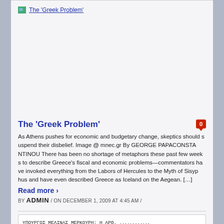[Figure (illustration): Broken image placeholder icon followed by alt text 'The ‘Greek Problem’' as a link]
The ‘Greek Problem’
As Athens pushes for economic and budgetary change, skeptics should suspend their disbelief. Image @ mnec.gr By GEORGE PAPACONSTANTINOU There has been no shortage of metaphors these past few weeks to describe Greece’s fiscal and economic problems—commentators have invoked everything from the Labors of Hercules to the Myth of Sisyphus and have even described Greece as Iceland on the Aegean. […]
Read more ›
BY ADMIN / ON DECEMBER 1, 2009 AT 4:45 AM /
[Figure (photo): Handwritten or typed Greek text listing government minister names in Greek, including references to ΥΠΟΥΡΓΟΣ ΜΕΛΙΝΑΣ ΜΕΡΚΟΥΡΗ, ΥΠΟΥΡΓΟΣ ΠΑΙΔΕΙΑΣ ΚΑΙ ΑΓΩΝΙΚΗΣ ΓΛΩΣΣΗΣ: ΑΝΔΑ ΝΤΙΑΜΑΝΤΟΠΟΥΛΟΣ, ΥΠΟΥΡΓΟΣ ΠΟΛΙΤΙΣΜΟΥ: ΙΕΡΩΝΥΜΟΣ ΤΣΑΖ ΜΠΑΝΤ., ΥΠΟΥΡΓΟΣ ΕΞΩΤΕΡΙΚΩΝ: Ο ΠΡΟΣΔΡΟΣ ΟΜΠΑΜΑ]